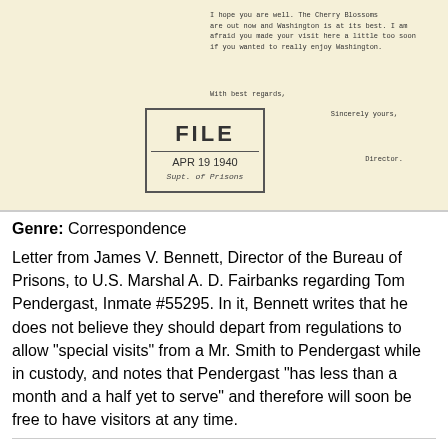[Figure (photo): Scanned image of a typewritten letter on yellowed paper with a FILE stamp dated APR 19 1940, Bureau of Prisons. The letter excerpt reads: 'I hope you are well. The Cherry Blossoms are out now and Washington is at its best. I am afraid you made your visit here a little too soon if you wanted to really enjoy Washington. With best regards, Sincerely yours, Director.']
Genre: Correspondence
Letter from James V. Bennett, Director of the Bureau of Prisons, to U.S. Marshal A. D. Fairbanks regarding Tom Pendergast, Inmate #55295. In it, Bennett writes that he does not believe they should depart from regulations to allow "special visits" from a Mr. Smith to Pendergast while in custody, and notes that Pendergast "has less than a month and a half yet to serve" and therefore will soon be free to have visitors at any time.